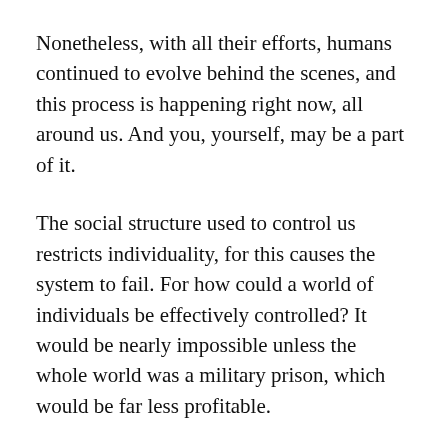Nonetheless, with all their efforts, humans continued to evolve behind the scenes, and this process is happening right now, all around us. And you, yourself, may be a part of it.
The social structure used to control us restricts individuality, for this causes the system to fail. For how could a world of individuals be effectively controlled? It would be nearly impossible unless the whole world was a military prison, which would be far less profitable.
It’s better to trick the servant race into thinking that it is “free” by giving them many